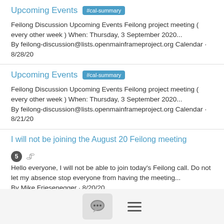Upcoming Events #cal-summary
Feilong Discussion Upcoming Events Feilong project meeting ( every other week ) When: Thursday, 3 September 2020... By feilong-discussion@lists.openmainframeproject.org Calendar · 8/28/20
Upcoming Events #cal-summary
Feilong Discussion Upcoming Events Feilong project meeting ( every other week ) When: Thursday, 3 September 2020... By feilong-discussion@lists.openmainframeproject.org Calendar · 8/21/20
I will not be joining the August 20 Feilong meeting
Hello everyone, I will not be able to join today's Feilong call. Do not let my absence stop everyone from having the meeting... By Mike Friesenegger · 8/20/20
Upcoming Events #cal-summary